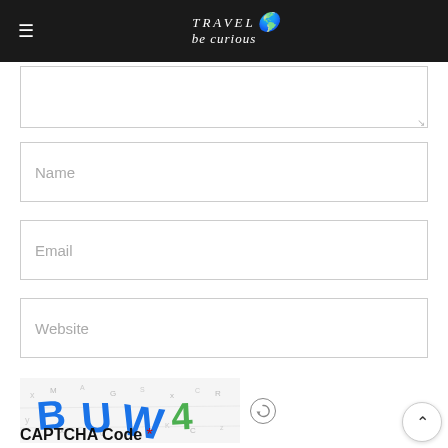Travel Be Curious - navigation header with logo
[Figure (screenshot): Textarea input field (comment/message box) with resize handle in bottom-right corner]
[Figure (screenshot): Name input field with placeholder text 'Name']
[Figure (screenshot): Email input field with placeholder text 'Email']
[Figure (screenshot): Website input field with placeholder text 'Website']
[Figure (other): CAPTCHA image showing distorted text 'BUW4' in blue and green with noisy background, with a refresh icon next to it]
[Figure (screenshot): CAPTCHA code input field (empty text box)]
CAPTCHA Code *